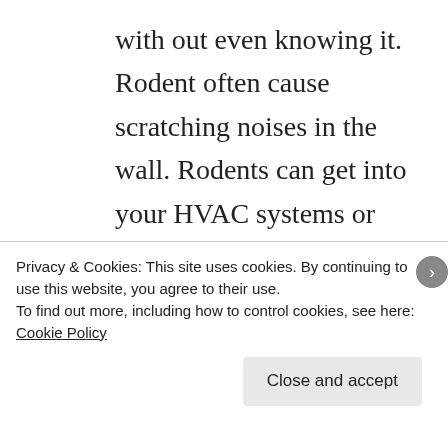with out even knowing it. Rodent often cause scratching noises in the wall. Rodents can get into your HVAC systems or vents and sound very much like a larger critter due to the echo effect. Nutria, Muskrat and Porcupine are herbivores and they can strip riverbanks clean and cause serious erosion issues and
Privacy & Cookies: This site uses cookies. By continuing to use this website, you agree to their use.
To find out more, including how to control cookies, see here: Cookie Policy